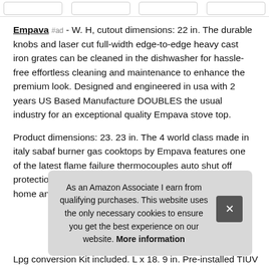[Figure (other): Top navigation bar with four rounded rectangle button outlines]
Empava #ad - W. H, cutout dimensions: 22 in. The durable knobs and laser cut full-width edge-to-edge heavy cast iron grates can be cleaned in the dishwasher for hassle-free effortless cleaning and maintenance to enhance the premium look. Designed and engineered in usa with 2 years US Based Manufacture DOUBLES the usual industry for an exceptional quality Empava stove top.
Product dimensions: 23. 23 in. The 4 world class made in italy sabaf burner gas cooktops by Empava features one of the latest flame failure thermocouples auto shut off protection technology that prevents gas leak to keep your home and fam
As an Amazon Associate I earn from qualifying purchases. This website uses the only necessary cookies to ensure you get the best experience on our website. More information
Lpg conversion Kit included. L x 18. 9 in. Pre-installed TIUV